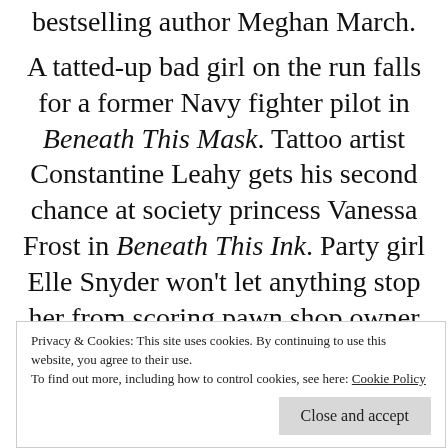bestselling author Meghan March.
A tatted-up bad girl on the run falls for a former Navy fighter pilot in Beneath This Mask. Tattoo artist Constantine Leahy gets his second chance at society princess Vanessa Frost in Beneath This Ink. Party girl Elle Snyder won't let anything stop her from scoring pawn shop owner Lord Robichaux in Beneath These Chains. But nothing will ever
Privacy & Cookies: This site uses cookies. By continuing to use this website, you agree to their use.
To find out more, including how to control cookies, see here: Cookie Policy
Close and accept